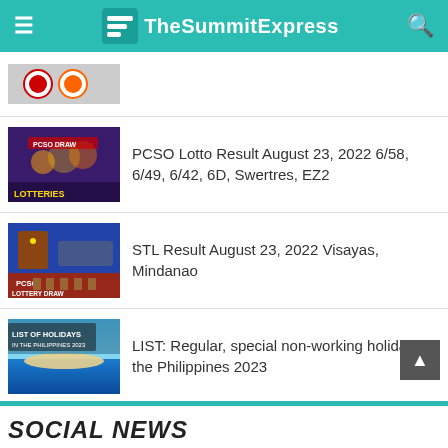TheSummitExpress
[Figure (screenshot): Partial thumbnail of first article, showing logos]
[Figure (screenshot): Thumbnail showing PCSO lottery draw hosts]
PCSO Lotto Result August 23, 2022 6/58, 6/49, 6/42, 6D, Swertres, EZ2
[Figure (screenshot): Thumbnail showing PCSO Lottery Draw host with mic]
STL Result August 23, 2022 Visayas, Mindanao
[Figure (screenshot): Thumbnail showing List of Holidays in the Philippines 2023 beach scene]
LIST: Regular, special non-working holidays in the Philippines 2023
SOCIAL NEWS